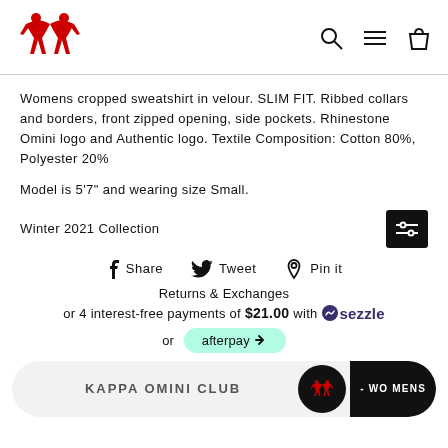[Figure (logo): Kappa brand logo in red — two silhouetted figures seated back to back]
Womens cropped sweatshirt in velour. SLIM FIT. Ribbed collars and borders, front zipped opening, side pockets. Rhinestone Omini logo and Authentic logo. Textile Composition: Cotton 80%, Polyester 20%
Model is 5'7" and wearing size Small.
Winter 2021 Collection
Share   Tweet   Pin it
Returns & Exchanges
or 4 interest-free payments of $21.00 with sezzle
or afterpay
KAPPA OMINI CLUB  - WO MENS